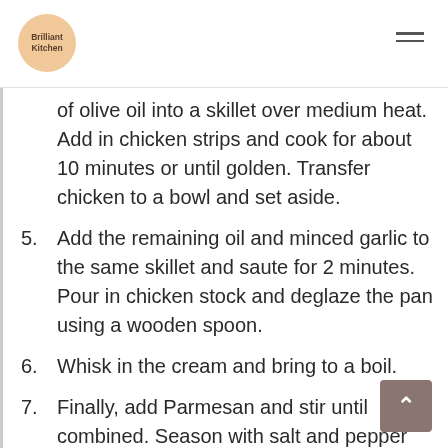Brilliant Kitchen
of olive oil into a skillet over medium heat. Add in chicken strips and cook for about 10 minutes or until golden. Transfer chicken to a bowl and set aside.
5. Add the remaining oil and minced garlic to the same skillet and saute for 2 minutes. Pour in chicken stock and deglaze the pan using a wooden spoon.
6. Whisk in the cream and bring to a boil.
7. Finally, add Parmesan and stir until combined. Season with salt and pepper and leave on the stove.
8. Remove potatoes from the air fryer and let